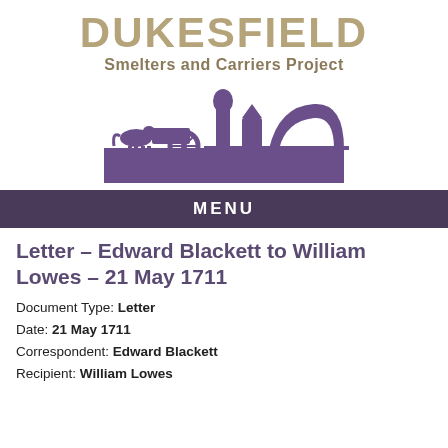DUKESFIELD
Smelters and Carriers Project
[Figure (logo): Purple silhouette logo showing a horse-drawn cart on the left and industrial smelting structures/ruins on the right, on a purple rectangular base]
MENU
Letter – Edward Blackett to William Lowes – 21 May 1711
Document Type: Letter
Date: 21 May 1711
Correspondent: Edward Blackett
Recipient: William Lowes